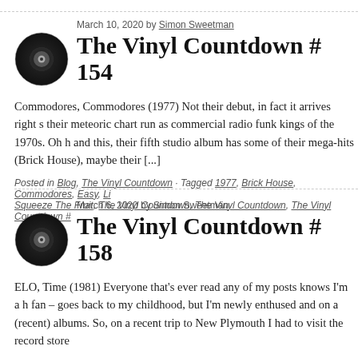[Figure (illustration): Black vinyl record icon]
March 10, 2020 by Simon Sweetman
The Vinyl Countdown # 154
Commodores, Commodores (1977) Not their debut, in fact it arrives right s their meteoric chart run as commercial radio funk kings of the 1970s. Oh h and this, their fifth studio album has some of their mega-hits (Brick House), maybe their [...]
Posted in Blog, The Vinyl Countdown · Tagged 1977, Brick House, Commodores, Easy, Li Squeeze The Fruit, The Vinyl Countdown, The Vinyl Countdown, The Vinyl Countdown #
[Figure (illustration): Black vinyl record icon]
March 6, 2020 by Simon Sweetman
The Vinyl Countdown # 158
ELO, Time (1981) Everyone that's ever read any of my posts knows I'm a h fan – goes back to my childhood, but I'm newly enthused and on a (recent) albums. So, on a recent trip to New Plymouth I had to visit the record store